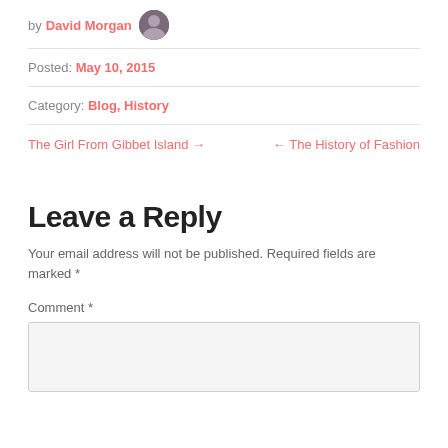by David Morgan
Posted: May 10, 2015
Category: Blog, History
The Girl From Gibbet Island →    ← The History of Fashion
Leave a Reply
Your email address will not be published. Required fields are marked *
Comment *